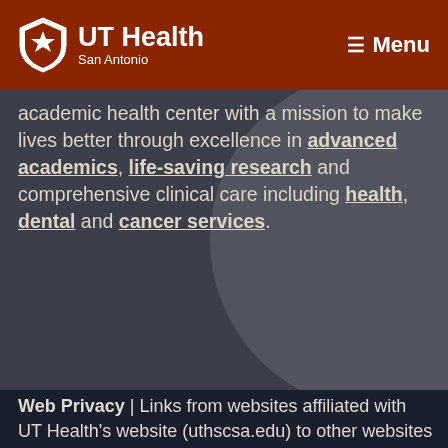UT Health San Antonio | Menu
academic health center with a mission to make lives better through excellence in advanced academics, life-saving research and comprehensive clinical care including health, dental and cancer services.
Web Privacy | Links from websites affiliated with UT Health's website (uthscsa.edu) to other websites